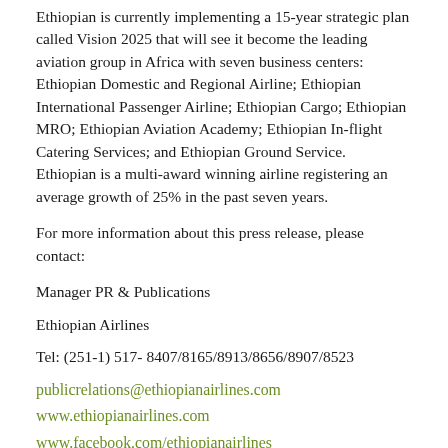Ethiopian is currently implementing a 15-year strategic plan called Vision 2025 that will see it become the leading aviation group in Africa with seven business centers: Ethiopian Domestic and Regional Airline; Ethiopian International Passenger Airline; Ethiopian Cargo; Ethiopian MRO; Ethiopian Aviation Academy; Ethiopian In-flight Catering Services; and Ethiopian Ground Service.  Ethiopian is a multi-award winning airline registering an average growth of 25% in the past seven years.
For more information about this press release, please contact:
Manager PR & Publications
Ethiopian Airlines
Tel: (251-1) 517- 8407/8165/8913/8656/8907/8523
publicrelations@ethiopianairlines.com
www.ethiopianairlines.com
www.facebook.com/ethiopianairlines